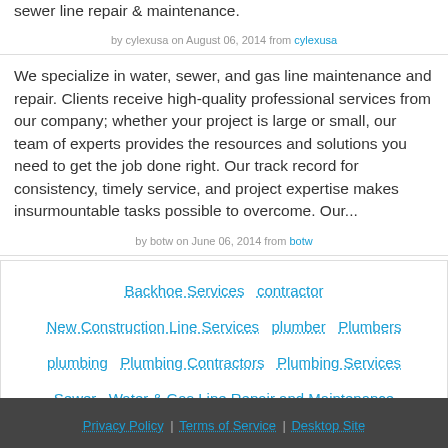sewer line repair & maintenance.
by cylexusa on August 06, 2014 from cylexusa
We specialize in water, sewer, and gas line maintenance and repair. Clients receive high-quality professional services from our company; whether your project is large or small, our team of experts provides the resources and solutions you need to get the job done right. Our track record for consistency, timely service, and project expertise makes insurmountable tasks possible to overcome. Our...
by botw on June 06, 2014 from botw
Backhoe Services
contractor
New Construction Line Services
plumber
Plumbers
plumbing
Plumbing Contractors
Plumbing Services
Sewer
Water & Gas Line Repair and Maintenance
Privacy Policy | Terms of Service | Desktop Site